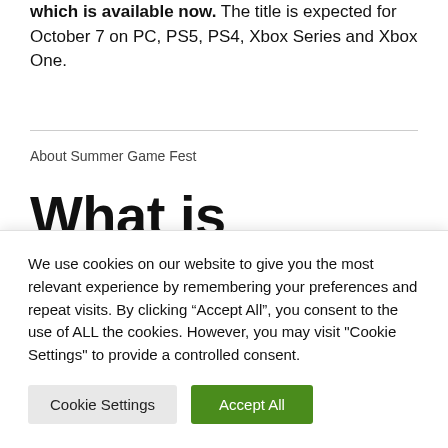which is available now. The title is expected for October 7 on PC, PS5, PS4, Xbox Series and Xbox One.
About Summer Game Fest
What is Summer
We use cookies on our website to give you the most relevant experience by remembering your preferences and repeat visits. By clicking “Accept All”, you consent to the use of ALL the cookies. However, you may visit "Cookie Settings" to provide a controlled consent.